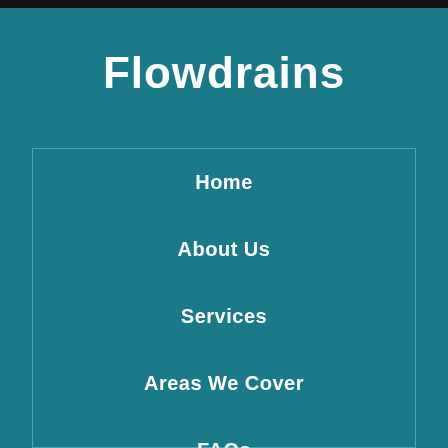Flowdrains
Home
About Us
Services
Areas We Cover
FAQs
Help